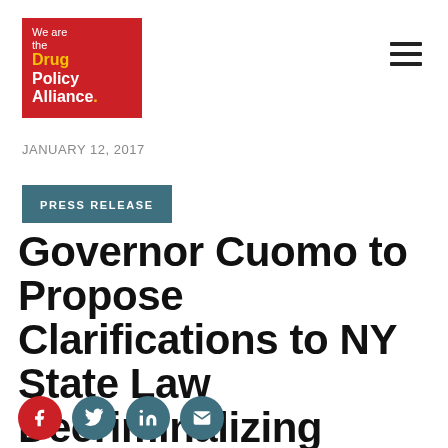[Figure (logo): Drug Policy Alliance logo — red background with 'We are the Drug Policy Alliance.' text in white and yellow]
JANUARY 12, 2017
PRESS RELEASE
Governor Cuomo to Propose Clarifications to NY State Law Decriminalizing Marijuana Possession
[Figure (infographic): Row of social sharing icons: Facebook (red), Twitter (teal), LinkedIn (teal), Email (teal)]